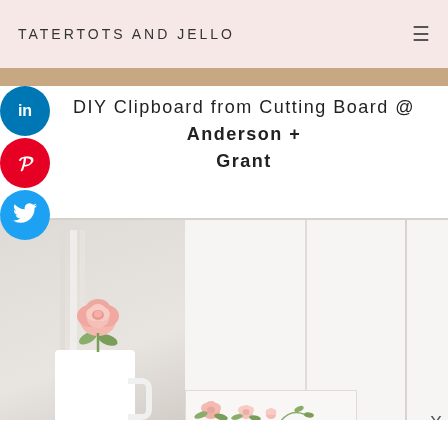TATERTOTS AND JELLO
DIY Clipboard from Cutting Board @ Anderson + Grant
[Figure (photo): Blog website screenshot showing a header with 'TATERTOTS AND JELLO', social media icons (LinkedIn, Pinterest, Twitter), a caption reading 'DIY Clipboard from Cutting Board @ Anderson + Grant', and a lifestyle photo of a white mug with pink roses and what appears to be a clipboard or board in the background.]